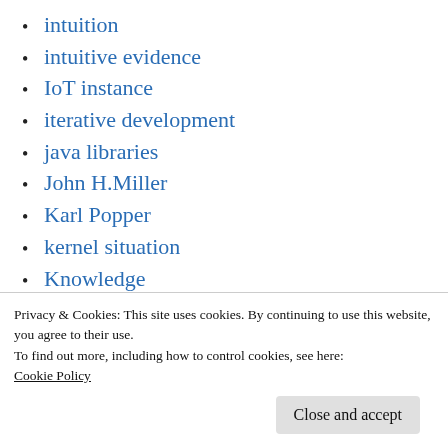intuition
intuitive evidence
IoT instance
iterative development
java libraries
John H.Miller
Karl Popper
kernel situation
Knowledge
knowledge about the world
knowledge by imagination
Privacy & Cookies: This site uses cookies. By continuing to use this website, you agree to their use.
To find out more, including how to control cookies, see here:
Cookie Policy
komega change rules